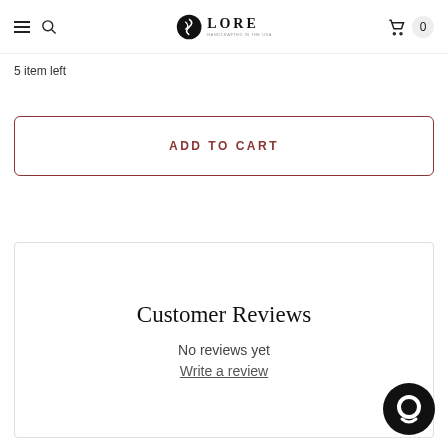LORE — navigation header with hamburger menu, search icon, logo, cart icon and count 0
5 item left
ADD TO CART
Customer Reviews
No reviews yet
Write a review